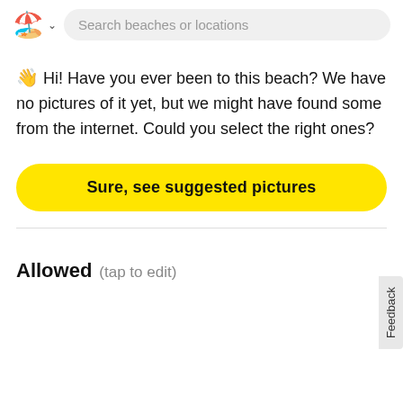🏖️ ∨  Search beaches or locations
👋 Hi! Have you ever been to this beach? We have no pictures of it yet, but we might have found some from the internet. Could you select the right ones?
Sure, see suggested pictures
Allowed  (tap to edit)